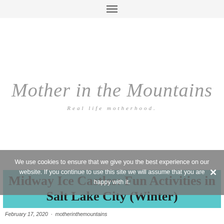≡ (navigation menu icon)
[Figure (logo): Mother in the Mountains blog logo — script/cursive text reading 'Mother in the Mountains' with tagline 'Real life motherhood.' in spaced italic serif below]
We use cookies to ensure that we give you the best experience on our website. If you continue to use this site we will assume that you are happy with it.
Midway Ice Castles: Fun Activities in Salt Lake City (Winter)
February 17, 2020 · motherinthemountains